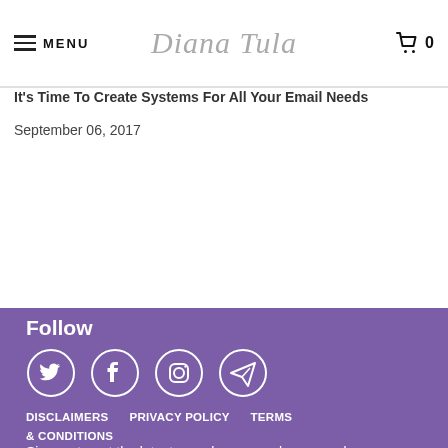MENU | Diana Tula | 0
It's Time To Create Systems For All Your Email Needs
September 06, 2017
Follow
[Figure (infographic): Social media icons in white circles on purple background: Twitter, Facebook, Instagram, Telegram]
DISCLAIMERS   PRIVACY POLICY   TERMS & CONDITIONS
Sign up to get the latest on sales, new releases and more …
Enter your email address...